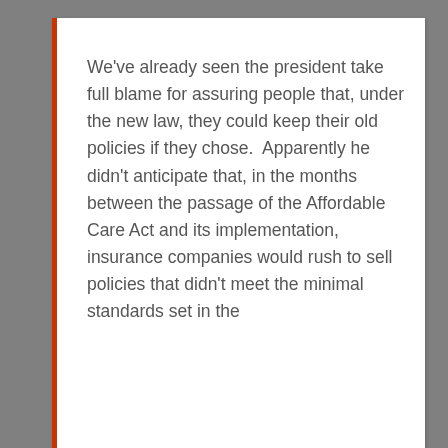We've already seen the president take full blame for assuring people that, under the new law, they could keep their old policies if they chose.  Apparently he didn't anticipate that, in the months between the passage of the Affordable Care Act and its implementation, insurance companies would rush to sell policies that didn't meet the minimal standards set in the